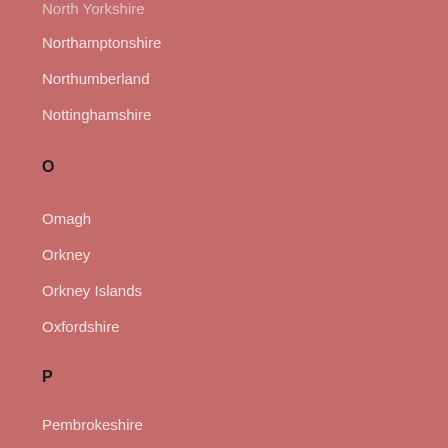North Yorkshire
Northamptonshire
Northumberland
Nottinghamshire
O
Omagh
Orkney
Orkney Islands
Oxfordshire
P
Pembrokeshire
Perth and Kinross